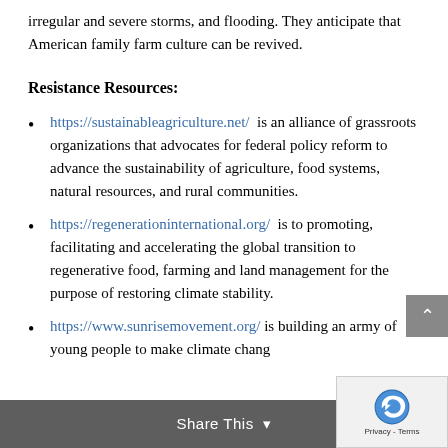irregular and severe storms, and flooding. They anticipate that American family farm culture can be revived.
Resistance Resources:
https://sustainableagriculture.net/  is an alliance of grassroots organizations that advocates for federal policy reform to advance the sustainability of agriculture, food systems, natural resources, and rural communities.
https://regenerationinternational.org/  is to promoting, facilitating and accelerating the global transition to regenerative food, farming and land management for the purpose of restoring climate stability.
https://www.sunrisemovement.org/ is building an army of young people to make climate chang...